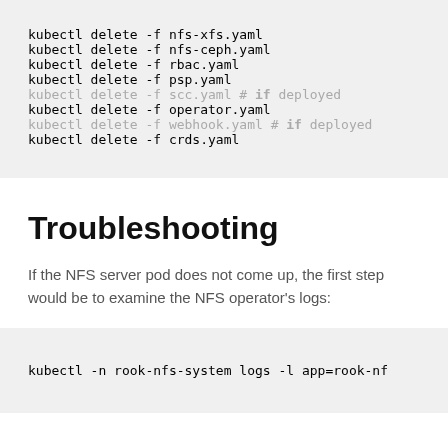kubectl delete -f nfs-xfs.yaml
kubectl delete -f nfs-ceph.yaml
kubectl delete -f rbac.yaml
kubectl delete -f psp.yaml
kubectl delete -f scc.yaml # if deployed
kubectl delete -f operator.yaml
kubectl delete -f webhook.yaml # if deployed
kubectl delete -f crds.yaml
Troubleshooting
If the NFS server pod does not come up, the first step would be to examine the NFS operator's logs:
kubectl -n rook-nfs-system logs -l app=rook-nf